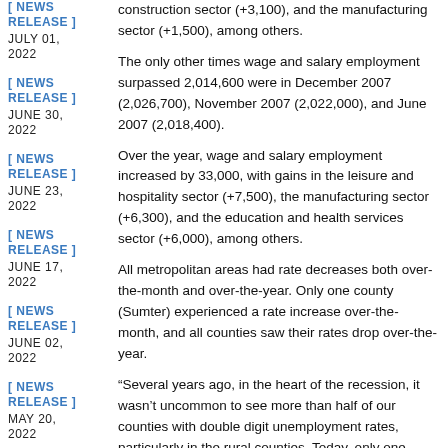[ NEWS RELEASE ] JULY 01, 2022
[ NEWS RELEASE ] JUNE 30, 2022
[ NEWS RELEASE ] JUNE 23, 2022
[ NEWS RELEASE ] JUNE 17, 2022
[ NEWS RELEASE ] JUNE 02, 2022
[ NEWS RELEASE ] MAY 20, 2022
construction sector (+3,100), and the manufacturing sector (+1,500), among others.
The only other times wage and salary employment surpassed 2,014,600 were in December 2007 (2,026,700), November 2007 (2,022,000), and June 2007 (2,018,400).
Over the year, wage and salary employment increased by 33,000, with gains in the leisure and hospitality sector (+7,500), the manufacturing sector (+6,300), and the education and health services sector (+6,000), among others.
All metropolitan areas had rate decreases both over-the-month and over-the-year. Only one county (Sumter) experienced a rate increase over-the-month, and all counties saw their rates drop over-the-year.
“Several years ago, in the heart of the recession, it wasn’t uncommon to see more than half of our counties with double digit unemployment rates, particularly in the rural counties. Today, only one county has double digit unemployment, and its rate has